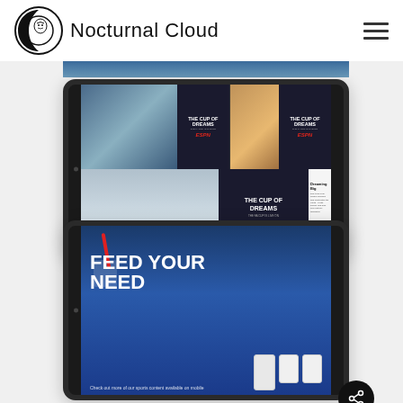[Figure (logo): Nocturnal Cloud logo with crescent moon circle icon and text]
[Figure (screenshot): Tablet mockup showing ESPN FA Cup of Dreams website with winter snowman imagery and advertising banners]
[Figure (screenshot): Tablet mockup showing ESPN Feed Your Need campaign with phone mockups and share button overlay]